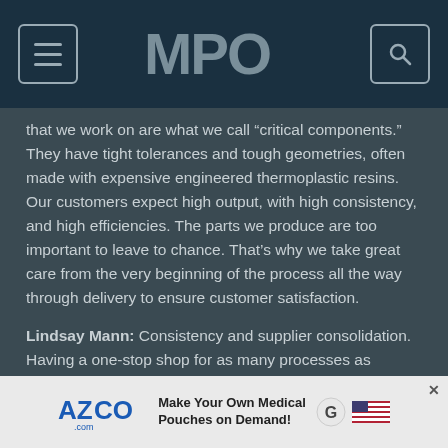MPO
that we work on are what we call “critical components.” They have tight tolerances and tough geometries, often made with expensive engineered thermoplastic resins. Our customers expect high output, with high consistency, and high efficiencies. The parts we produce are too important to leave to chance. That’s why we take great care from the very beginning of the process all the way through delivery to ensure customer satisfaction.
Lindsay Mann: Consistency and supplier consolidation. Having a one-stop shop for as many processes as possible is in high demand—tooling, validation, assembly, packaging, testing, secondary operations.
Passetti: Defect-free and on time delivery of parts.
[Figure (other): Advertisement banner: AZCO Corp logo with text 'Make Your Own Medical Pouches on Demand!' and brand icons including a G logo and US flag]